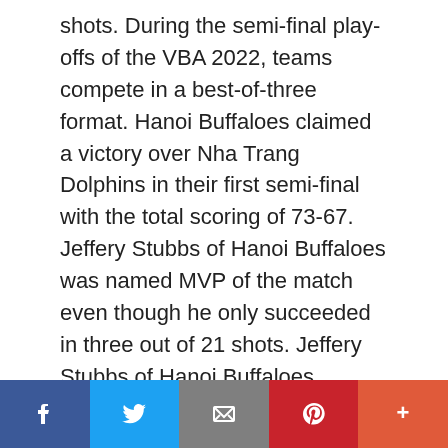shots. During the semi-final play-offs of the VBA 2022, teams compete in a best-of-three format. Hanoi Buffaloes claimed a victory over Nha Trang Dolphins in their first semi-final with the total scoring of 73-67. Jeffery Stubbs of Hanoi Buffaloes was named MVP of the match even though he only succeeded in three out of 21 shots. Jeffery Stubbs of Hanoi Buffaloes speaks to a reporter after the match. Photo: VBA Stubbs said he was very surprised himself and thought that the MVP would be his teammate Tam Dinh, who scored 21 points. “I did coordinate well with my teammates in both defense and offense tactics, but if I could, I would give the MVP title to Tam Dinh because he stood